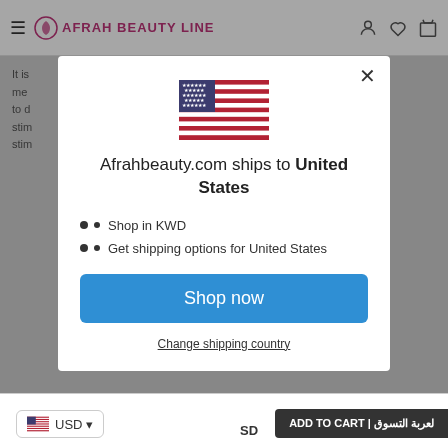AFRAH BEAUTY LINE
[Figure (screenshot): US flag icon in modal]
Afrahbeauty.com ships to United States
Shop in KWD
Get shipping options for United States
Shop now
Change shipping country
USD | ADD TO CART | لعربة التسوق